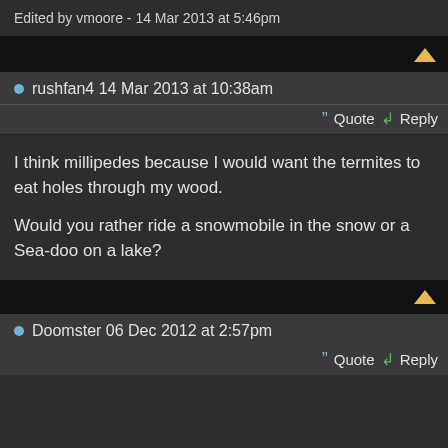Edited by vmoore - 14 Mar 2013 at 5:46pm
rushfan4 14 Mar 2013 at 10:38am
Quote   Reply
I think millipedes because I would want the termites to eat holes through my wood.

Would you rather ride a snowmobile in the snow or a Sea-doo on a lake?
Doomster 06 Dec 2012 at 2:57pm
Quote   Reply